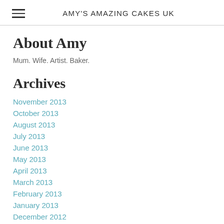AMY'S AMAZING CAKES UK
About Amy
Mum. Wife. Artist. Baker.
Archives
November 2013
October 2013
August 2013
July 2013
June 2013
May 2013
April 2013
March 2013
February 2013
January 2013
December 2012
November 2012